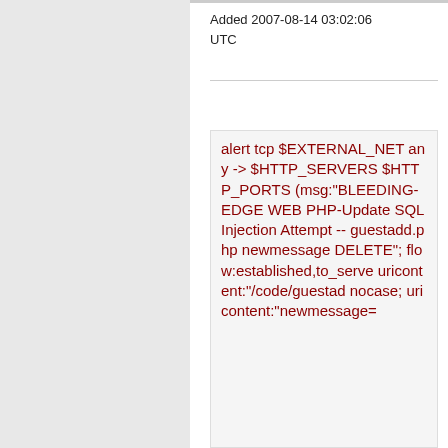Added 2007-08-14 03:02:06 UTC
alert tcp $EXTERNAL_NET any -> $HTTP_SERVERS $HTTP_PORTS (msg:"BLEEDING-EDGE WEB PHP-Update SQL Injection Attempt -- guestadd.php newmessage DELETE"; flow:established,to_server; uricontent:"/code/guestad nocase; uricontent:"newmessage=